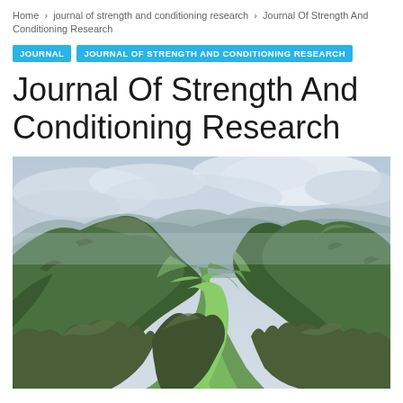Home › journal of strength and conditioning research › Journal Of Strength And Conditioning Research
JOURNAL   JOURNAL OF STRENGTH AND CONDITIONING RESEARCH
Journal Of Strength And Conditioning Research
[Figure (photo): Aerial panoramic photograph of a dramatic mountain valley with steep green ridges, rocky outcroppings in the foreground, a lush valley below, and cloudy overcast sky above. Tropical or subtropical mountain landscape.]